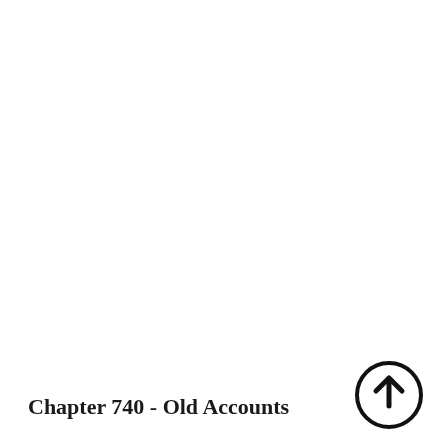Chapter 740 - Old Accounts
[Figure (illustration): Circular upward arrow icon (navigation/scroll-to-top symbol), black outline circle with upward pointing arrow inside, positioned bottom-right corner]